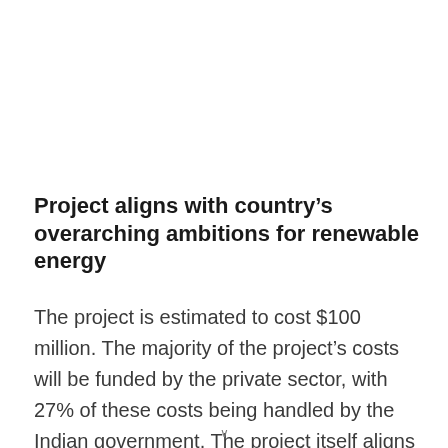Project aligns with country's overarching ambitions for renewable energy
The project is estimated to cost $100 million. The majority of the project's costs will be funded by the private sector, with 27% of these costs being handled by the Indian government. The project itself aligns with India's